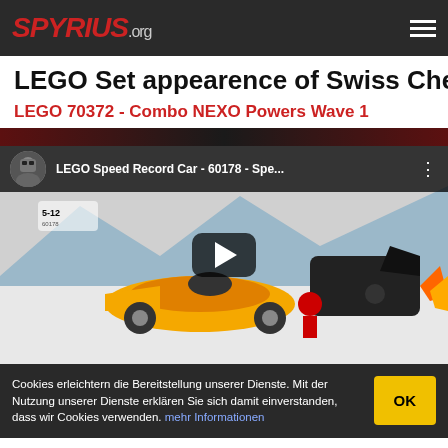SPYRIUS.org
LEGO Set appearence of Swiss Cheese
LEGO 70372 - Combo NEXO Powers Wave 1
[Figure (screenshot): YouTube video thumbnail showing LEGO Speed Record Car - 60178 - Spe... with LEGO City set including orange speed record car and minifigures]
Cookies erleichtern die Bereitstellung unserer Dienste. Mit der Nutzung unserer Dienste erklären Sie sich damit einverstanden, dass wir Cookies verwenden. mehr Informationen